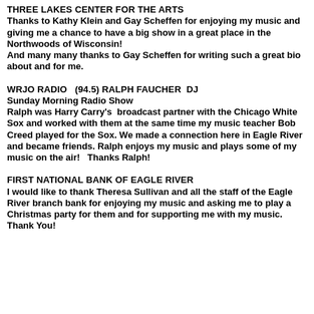THREE LAKES CENTER FOR THE ARTS
Thanks to Kathy Klein and Gay Scheffen for enjoying my music and giving me a chance to have a big show in a great place in the Northwoods of Wisconsin!
And many many thanks to Gay Scheffen for writing such a great bio about and for me.
WRJO RADIO  (94.5) RALPH FAUCHER  DJ
Sunday Morning Radio Show
Ralph was Harry Carry's  broadcast partner with the Chicago White Sox and worked with them at the same time my music teacher Bob Creed played for the Sox. We made a connection here in Eagle River and became friends. Ralph enjoys my music and plays some of my music on the air!  Thanks Ralph!
FIRST NATIONAL BANK OF EAGLE RIVER
I would like to thank Theresa Sullivan and all the staff of the Eagle River branch bank for enjoying my music and asking me to play a Christmas party for them and for supporting me with my music. Thank You!